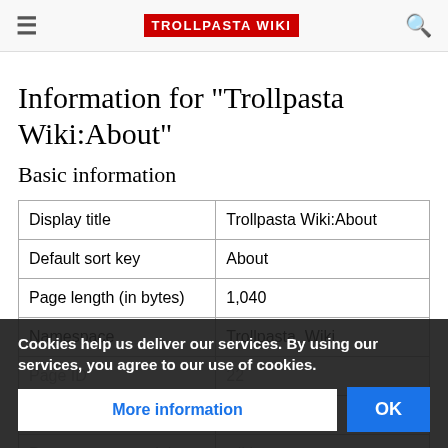TROLLPASTA WIKI
Information for "Trollpasta Wiki:About"
Basic information
|  |  |
| --- | --- |
| Display title | Trollpasta Wiki:About |
| Default sort key | About |
| Page length (in bytes) | 1,040 |
| Namespace | Trollpasta_Wiki |
| Page ID | 22 |
| Page content |  |
| Page content model | wikitext |
Cookies help us deliver our services. By using our services, you agree to our use of cookies.